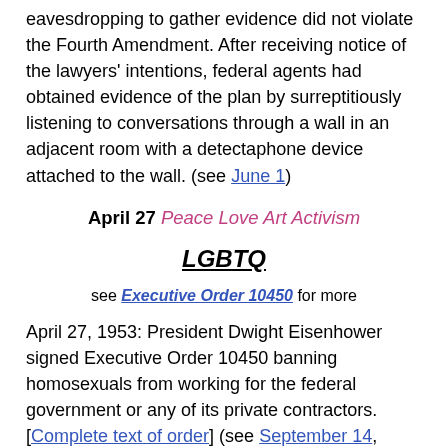eavesdropping to gather evidence did not violate the Fourth Amendment. After receiving notice of the lawyers' intentions, federal agents had obtained evidence of the plan by surreptitiously listening to conversations through a wall in an adjacent room with a detectaphone device attached to the wall. (see June 1)
April 27 Peace Love Art Activism
LGBTQ
see Executive Order 10450 for more
April 27, 1953: President Dwight Eisenhower signed Executive Order 10450 banning homosexuals from working for the federal government or any of its private contractors. [Complete text of order] (see September 14, 1953)